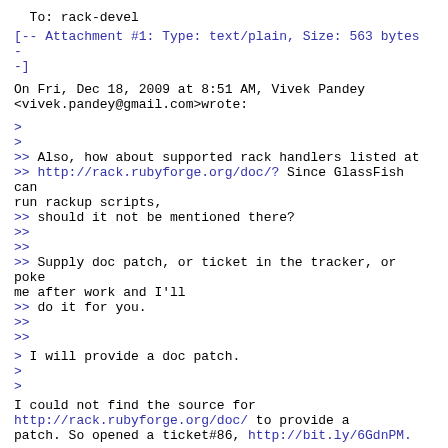To: rack-devel
[-- Attachment #1: Type: text/plain, Size: 563 bytes --]
On Fri, Dec 18, 2009 at 8:51 AM, Vivek Pandey <vivek.pandey@gmail.com>wrote:
>
>
>> Also, how about supported rack handlers listed at
>> http://rack.rubyforge.org/doc/? Since GlassFish can run rackup scripts,
>> should it not be mentioned there?
>>
>>
>> Supply doc patch, or ticket in the tracker, or poke me after work and I'll
>> do it for you.
>>
>>
> I will provide a doc patch.
>
>
I could not find the source for http://rack.rubyforge.org/doc/ to provide a patch. So opened a ticket#86, http://bit.ly/6GdnPM.
thanks,